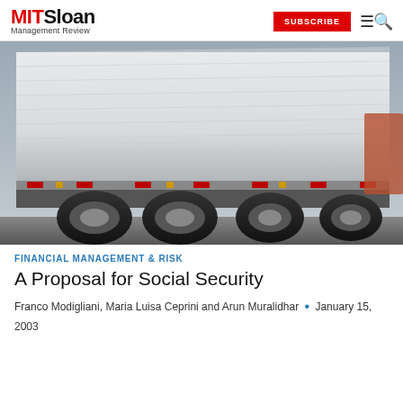MIT Sloan Management Review | SUBSCRIBE
[Figure (photo): Close-up photograph of the side and undercarriage of a large semi-truck trailer, showing wheels and reflective markers, taken from a low angle on a highway.]
FINANCIAL MANAGEMENT & RISK
A Proposal for Social Security
Franco Modigliani, Maria Luisa Ceprini and Arun Muralidhar • January 15, 2003